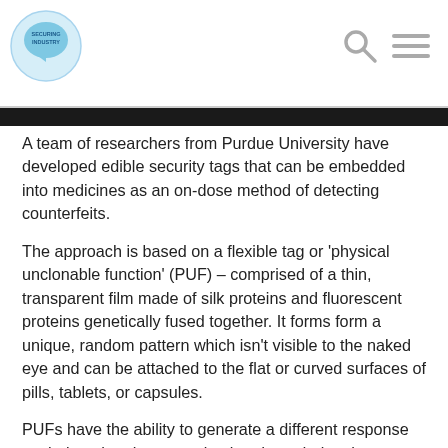Securing Industry
A team of researchers from Purdue University have developed edible security tags that can be embedded into medicines as an on-dose method of detecting counterfeits.
The approach is based on a flexible tag or 'physical unclonable function' (PUF) – comprised of a thin, transparent film made of silk proteins and fluorescent proteins genetically fused together. It forms form a unique, random pattern which isn't visible to the naked eye and can be attached to the flat or curved surfaces of pills, tablets, or capsules.
PUFs have the ability to generate a different response each time that they are stimulated, rendering them unpredictable and extremely difficult to duplicate, says Purdue. Even the manufacturer wouldn't be able to re-create an identical PUF tag.